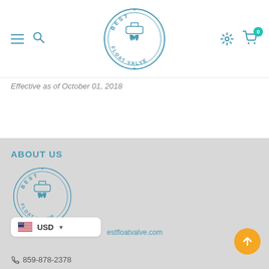[Figure (logo): Best Float Valve circular logo in blue, header version]
Effective as of October 01, 2018
ABOUT US
[Figure (logo): Best Float Valve circular logo in blue, footer version]
[Figure (other): US flag currency selector showing USD]
estfloatvalve.com
859-878-2378